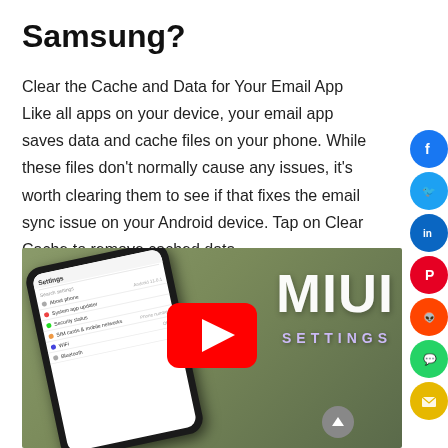Samsung?
Clear the Cache and Data for Your Email App Like all apps on your device, your email app saves data and cache files on your phone. While these files don't normally cause any issues, it's worth clearing them to see if that fixes the email sync issue on your Android device. Tap on Clear Cache to remove cached data.
[Figure (screenshot): YouTube video thumbnail showing a smartphone with a Settings screen open (displaying items like About phone, System app updater, Security status, SIM cards & mobile networks, WiFi, Bluetooth) on a blurred outdoor background. The video overlay shows 'MIUI SETTINGS' text in white/purple and a YouTube play button in the center.]